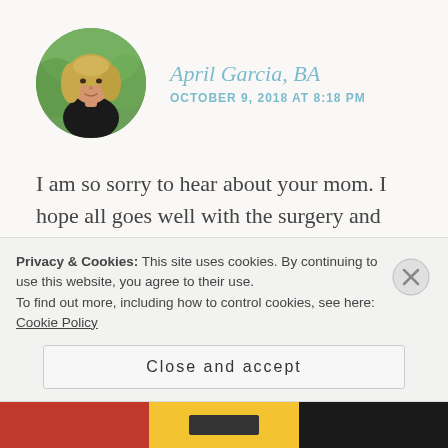[Figure (photo): Round avatar photo of April Garcia, a woman with long blonde hair wearing a black top, outdoors with green background]
April Garcia, BA
OCTOBER 9, 2018 AT 8:18 PM
I am so sorry to hear about your mom. I hope all goes well with the surgery and she goes into remission. I'm glad to hear you are feeling better, and congrats! on med school. 🙂 This is the first time I am coming across your blog, and my have you had a lot going on. I pray you find some balance in
Privacy & Cookies: This site uses cookies. By continuing to use this website, you agree to their use.
To find out more, including how to control cookies, see here: Cookie Policy
Close and accept